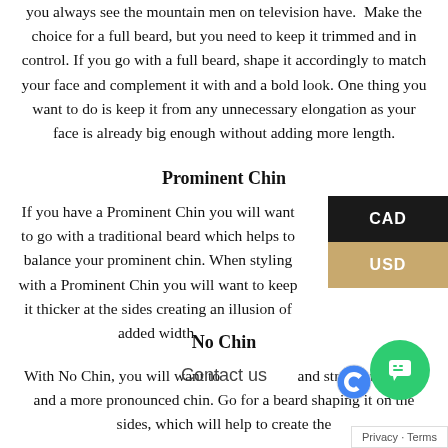you always see the mountain men on television have.  Make the choice for a full beard, but you need to keep it trimmed and in control. If you go with a full beard, shape it accordingly to match your face and complement it with and a bold look. One thing you want to do is keep it from any unnecessary elongation as your face is already big enough without adding more length.
Prominent Chin
If you have a Prominent Chin you will want to go with a traditional beard which helps to balance your prominent chin. When styling with a Prominent Chin you will want to keep it thicker at the sides creating an illusion of added width.
No Chin
With No Chin, you will want to ... and ... stronger jawline and a more pronounced chin. Go for ... beard shaping it on the sides, which will help to create the